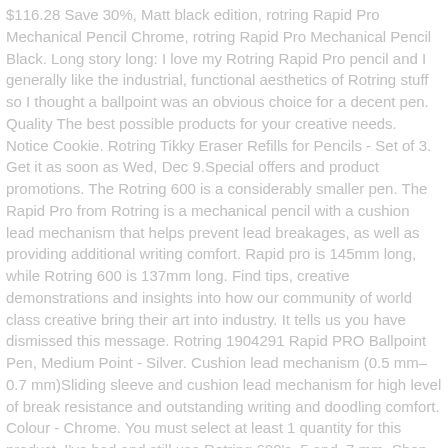$116.28 Save 30%, Matt black edition, rotring Rapid Pro Mechanical Pencil Chrome, rotring Rapid Pro Mechanical Pencil Black. Long story long: I love my Rotring Rapid Pro pencil and I generally like the industrial, functional aesthetics of Rotring stuff so I thought a ballpoint was an obvious choice for a decent pen. Quality The best possible products for your creative needs. Notice Cookie. Rotring Tikky Eraser Refills for Pencils - Set of 3. Get it as soon as Wed, Dec 9.Special offers and product promotions. The Rotring 600 is a considerably smaller pen. The Rapid Pro from Rotring is a mechanical pencil with a cushion lead mechanism that helps prevent lead breakages, as well as providing additional writing comfort. Rapid pro is 145mm long, while Rotring 600 is 137mm long. Find tips, creative demonstrations and insights into how our community of world class creative bring their art into industry. It tells us you have dismissed this message. Rotring 1904291 Rapid PRO Ballpoint Pen, Medium Point - Silver. Cushion lead mechanism (0.5 mm–0.7 mm)Sliding sleeve and cushion lead mechanism for high level of break resistance and outstanding writing and doodling comfort. Colour - Chrome. You must select at least 1 quantity for this product. I've had and still use Rotring 600's .5 and .7 mm. Shop - Rotring Rapid Pro Ballpoint Pen – Chrome. An expert mechanical pencil